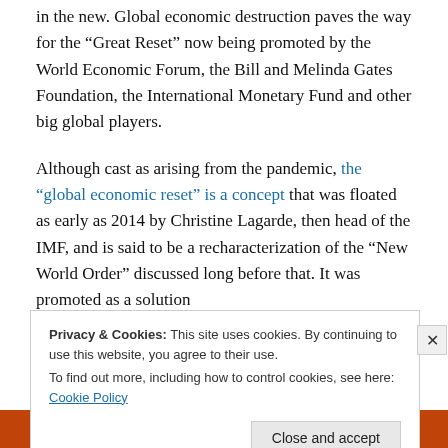in the new. Global economic destruction paves the way for the “Great Reset” now being promoted by the World Economic Forum, the Bill and Melinda Gates Foundation, the International Monetary Fund and other big global players.
Although cast as arising from the pandemic, the “global economic reset” is a concept that was floated as early as 2014 by Christine Lagarde, then head of the IMF, and is said to be a recharacterization of the “New World Order” discussed long before that. It was promoted as a solution
Privacy & Cookies: This site uses cookies. By continuing to use this website, you agree to their use.
To find out more, including how to control cookies, see here: Cookie Policy
Close and accept
[Figure (screenshot): Bottom orange strip with DuckDuckGo text]